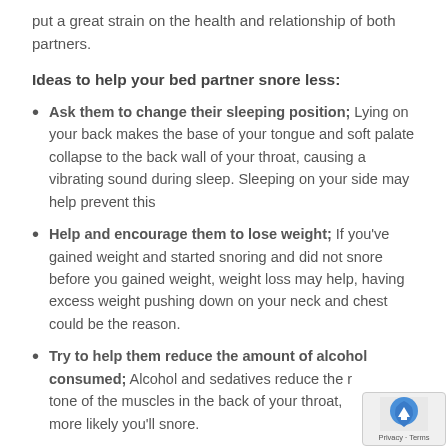put a great strain on the health and relationship of both partners.
Ideas to help your bed partner snore less:
Ask them to change their sleeping position; Lying on your back makes the base of your tongue and soft palate collapse to the back wall of your throat, causing a vibrating sound during sleep. Sleeping on your side may help prevent this
Help and encourage them to lose weight; If you've gained weight and started snoring and did not snore before you gained weight, weight loss may help, having excess weight pushing down on your neck and chest could be the reason.
Try to help them reduce the amount of alcohol consumed; Alcohol and sedatives reduce the resting tone of the muscles in the back of your throat, making it more likely you'll snore.